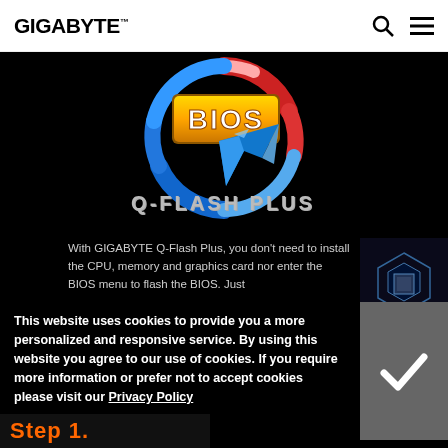GIGABYTE™
[Figure (logo): GIGABYTE Q-Flash Plus logo: golden BIOS text with blue circular arrow and Q-FLASH PLUS text below on black background]
With GIGABYTE Q-Flash Plus, you don't need to install the CPU, memory and graphics card nor enter the BIOS menu to flash the BIOS. Just
[Figure (illustration): 3D Industry sidebar image showing a circuit board/industrial scene with '3D INDUSTRY >' label]
This website uses cookies to provide you a more personalized and responsive service. By using this website you agree to our use of cookies. If you require more information or prefer not to accept cookies please visit our Privacy Policy
[Figure (screenshot): Cookie acceptance checkmark button on dark grey background]
Step 1.